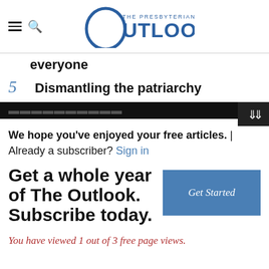The Presbyterian Outlook
everyone
5 Dismantling the patriarchy
We hope you've enjoyed your free articles. | Already a subscriber? Sign in
Get a whole year of The Outlook. Subscribe today.
You have viewed 1 out of 3 free page views.